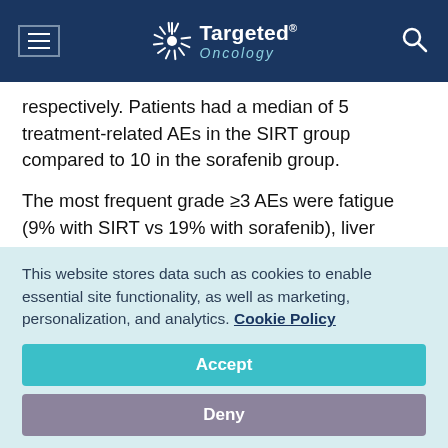Targeted Oncology
respectively. Patients had a median of 5 treatment-related AEs in the SIRT group compared to 10 in the sorafenib group.
The most frequent grade ≥3 AEs were fatigue (9% with SIRT vs 19% with sorafenib), liver dysfunction (11% vs 13%), increased laboratory liver values (9% vs 7%), hematologic abnormalities (10% vs 14%).
This website stores data such as cookies to enable essential site functionality, as well as marketing, personalization, and analytics. Cookie Policy
Accept
Deny